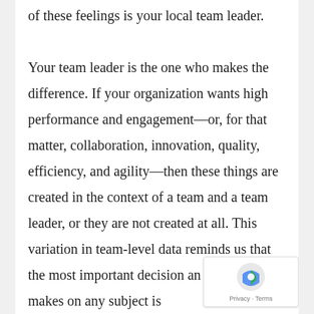of these feelings is your local team leader.

Your team leader is the one who makes the difference. If your organization wants high performance and engagement—or, for that matter, collaboration, innovation, quality, efficiency, and agility—then these things are created in the context of a team and a team leader, or they are not created at all. This variation in team-level data reminds us that the most important decision an organization makes on any subject is